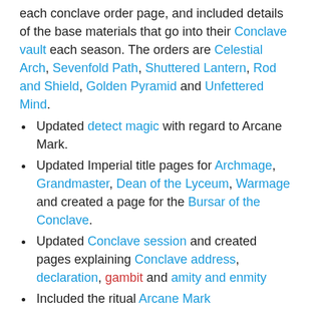each conclave order page, and included details of the base materials that go into their Conclave vault each season. The orders are Celestial Arch, Sevenfold Path, Shuttered Lantern, Rod and Shield, Golden Pyramid and Unfettered Mind.
Updated detect magic with regard to Arcane Mark.
Updated Imperial title pages for Archmage, Grandmaster, Dean of the Lyceum, Warmage and created a page for the Bursar of the Conclave.
Updated Conclave session and created pages explaining Conclave address, declaration, gambit and amity and enmity
Included the ritual Arcane Mark
Updated Powers of the Senate to reference creation and dissolution of Conclave order and to remove references to Imperial Lore.
Updates March 2014